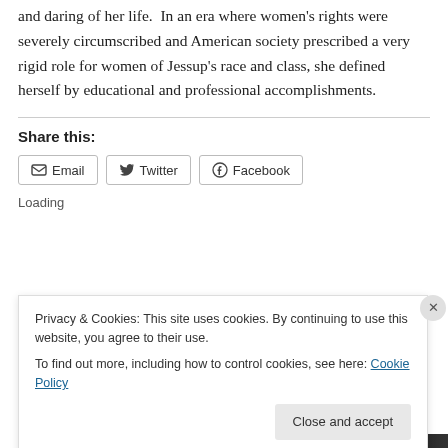and daring of her life.  In an era where women's rights were severely circumscribed and American society prescribed a very rigid role for women of Jessup's race and class, she defined herself by educational and professional accomplishments.
Share this:
Email  Twitter  Facebook
Loading
Privacy & Cookies: This site uses cookies. By continuing to use this website, you agree to their use.
To find out more, including how to control cookies, see here: Cookie Policy
Close and accept